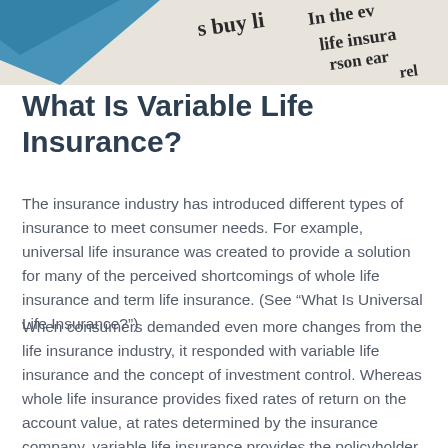[Figure (photo): Partial view of a blue card/document in top-left corner and a newspaper or printed text in the background showing partial words including 'buy li', 'In the ev', 'life insura', 'person ear', 'rel']
What Is Variable Life Insurance?
The insurance industry has introduced different types of insurance to meet consumer needs. For example, universal life insurance was created to provide a solution for many of the perceived shortcomings of whole life insurance and term life insurance. (See “What Is Universal Life Insurance?”)
When consumers demanded even more changes from the life insurance industry, it responded with variable life insurance and the concept of investment control. Whereas whole life insurance provides fixed rates of return on the account value, at rates determined by the insurance company, variable life insurance provides the policyholder with